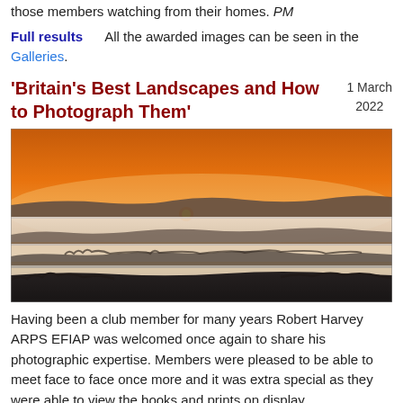those members watching from their homes. PM
Full results    All the awarded images can be seen in the Galleries.
'Britain's Best Landscapes and How to Photograph Them'
1 March 2022
[Figure (photo): Dramatic landscape photograph showing a misty valley at sunrise/sunset with an orange sky and layered fog over rolling hills and trees.]
Having been a club member for many years Robert Harvey ARPS EFIAP was welcomed once again to share his photographic expertise. Members were pleased to be able to meet face to face once more and it was extra special as they were able to view the books and prints on display.
Robert has built up a considerable reputation as a professional landscape photographer and has